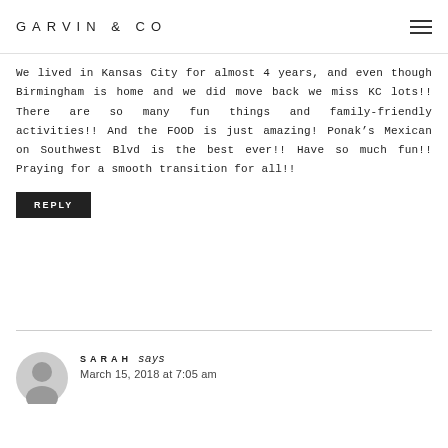GARVIN & CO
We lived in Kansas City for almost 4 years, and even though Birmingham is home and we did move back we miss KC lots!! There are so many fun things and family-friendly activities!! And the FOOD is just amazing! Ponak’s Mexican on Southwest Blvd is the best ever!! Have so much fun!! Praying for a smooth transition for all!!
REPLY
SARAH says
March 15, 2018 at 7:05 am